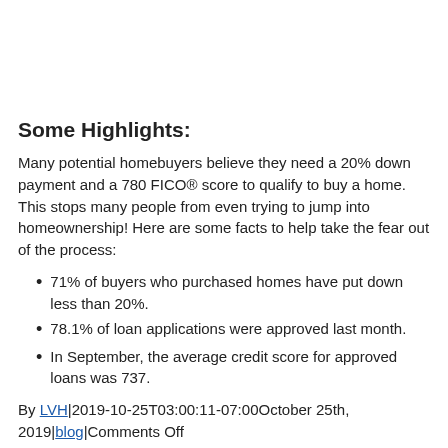Some Highlights:
Many potential homebuyers believe they need a 20% down payment and a 780 FICO® score to qualify to buy a home. This stops many people from even trying to jump into homeownership! Here are some facts to help take the fear out of the process:
71% of buyers who purchased homes have put down less than 20%.
78.1% of loan applications were approved last month.
In September, the average credit score for approved loans was 737.
By LVH|2019-10-25T03:00:11-07:00October 25th, 2019|blog|Comments Off
Share This Story, Choose Your Platform!